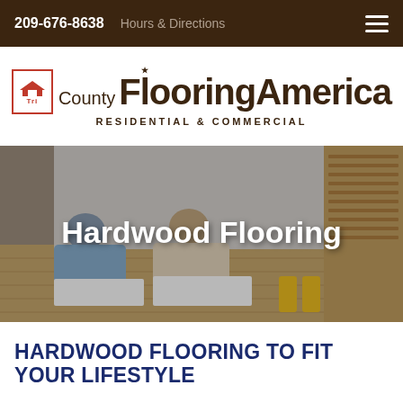209-676-8638   Hours & Directions
[Figure (logo): TriCounty FlooringAmerica logo with house icon in red box, brown bold text, and tagline RESIDENTIAL & COMMERCIAL]
[Figure (photo): Two children lying on a hardwood floor drawing with crayons, with a white curtain backdrop and wooden shutters in the background. Overlaid text reads 'Hardwood Flooring']
HARDWOOD FLOORING TO FIT YOUR LIFESTYLE